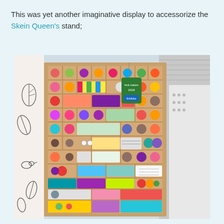This was yet another imaginative display to accessorize the Skein Queen's stand;
[Figure (photo): A wooden printer's tray / display case filled with colorful yarn balls, skeins, fabric swatches, buttons, and knitting accessories arranged in small compartments. A green exhibitor badge hangs from the top. The display is set against white fabric backdrops — one with black leaf/bird illustrations on the left, and plain white on the right.]